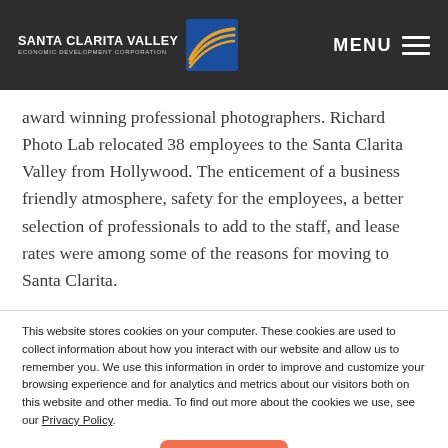SANTA CLARITA VALLEY ECONOMIC DEVELOPMENT CORPORATION — MENU
award winning professional photographers. Richard Photo Lab relocated 38 employees to the Santa Clarita Valley from Hollywood. The enticement of a business friendly atmosphere, safety for the employees, a better selection of professionals to add to the staff, and lease rates were among some of the reasons for moving to Santa Clarita.
This website stores cookies on your computer. These cookies are used to collect information about how you interact with our website and allow us to remember you. We use this information in order to improve and customize your browsing experience and for analytics and metrics about our visitors both on this website and other media. To find out more about the cookies we use, see our Privacy Policy.
Accept